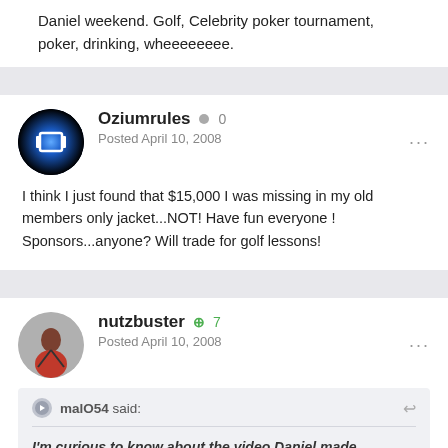Daniel weekend. Golf, Celebrity poker tournament, poker, drinking, wheeeeeeee.
Oziumrules · 0 · Posted April 10, 2008
I think I just found that $15,000 I was missing in my old members only jacket...NOT! Have fun everyone ! Sponsors...anyone? Will trade for golf lessons!
nutzbuster · +7 · Posted April 10, 2008
malO54 said:
I'm curious to know about the video Daniel made regarding a weekend in vegas for 18 people to hang out with him. I am...